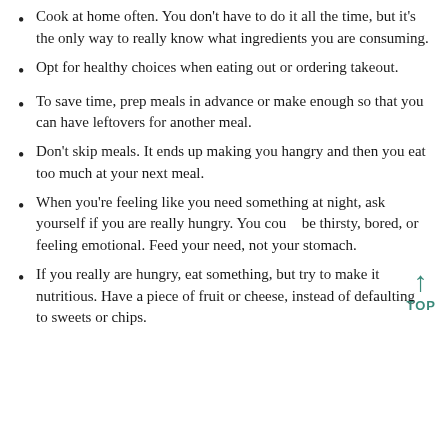Cook at home often. You don't have to do it all the time, but it's the only way to really know what ingredients you are consuming.
Opt for healthy choices when eating out or ordering takeout.
To save time, prep meals in advance or make enough so that you can have leftovers for another meal.
Don't skip meals. It ends up making you hangry and then you eat too much at your next meal.
When you're feeling like you need something at night, ask yourself if you are really hungry. You could be thirsty, bored, or feeling emotional. Feed your need, not your stomach.
If you really are hungry, eat something, but try to make it nutritious. Have a piece of fruit or cheese, instead of defaulting to sweets or chips.